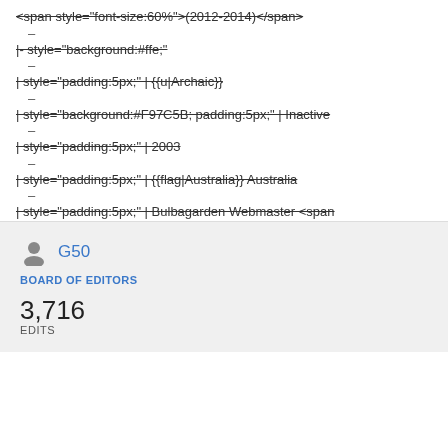<span style="font-size:60%">(2012-2014)</span>
–
|- style="background:#ffe;"
–
| style="padding:5px;" | {{u|Archaic}}
–
| style="background:#F97C5B; padding:5px;" | Inactive
–
| style="padding:5px;" | 2003
–
| style="padding:5px;" | {{flag|Australia}} Australia
–
| style="padding:5px;" | Bulbagarden Webmaster <span style="font-size:60%">(since like about forever)</span>
G50
BOARD OF EDITORS
3,716
EDITS